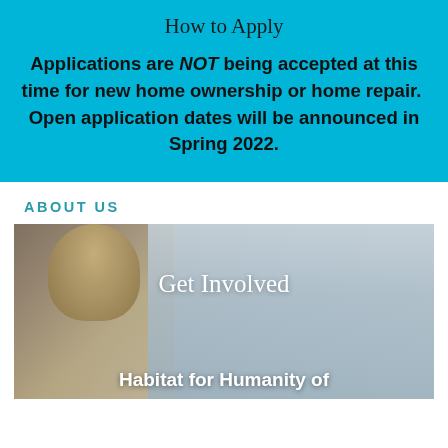How to Apply
Applications are NOT being accepted at this time for new home ownership or home repair.  Open application dates will be announced in Spring 2022.
ABOUT US
[Figure (photo): A woman working, with overlay text 'Get Involved' and 'Habitat for Humanity of']